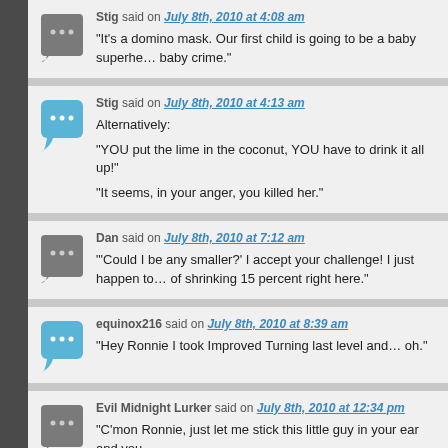Stig said on July 8th, 2010 at 4:08 am — "It's a domino mask. Our first child is going to be a baby superhe... baby crime."
Stig said on July 8th, 2010 at 4:13 am — Alternatively: "YOU put the lime in the coconut, YOU have to drink it all up!" "It seems, in your anger, you killed her."
Dan said on July 8th, 2010 at 7:12 am — "'Could I be any smaller?' I accept your challenge! I just happen to... of shrinking 15 percent right here."
equinox216 said on July 8th, 2010 at 8:39 am — "Hey Ronnie I took Improved Turning last level and… oh."
Evil Midnight Lurker said on July 8th, 2010 at 12:34 pm — "C'mon Ronnie, just let me stick this little guy in your ear and you..."